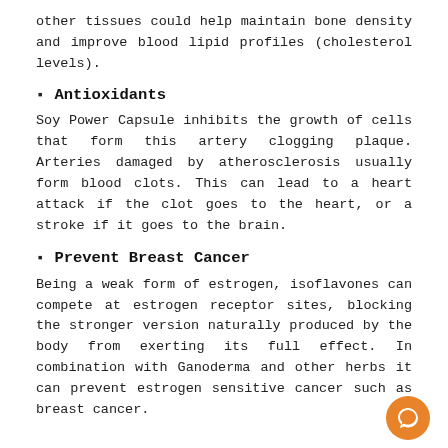other tissues could help maintain bone density and improve blood lipid profiles (cholesterol levels).
Antioxidants
Soy Power Capsule inhibits the growth of cells that form this artery clogging plaque. Arteries damaged by atherosclerosis usually form blood clots. This can lead to a heart attack if the clot goes to the heart, or a stroke if it goes to the brain.
Prevent Breast Cancer
Being a weak form of estrogen, isoflavones can compete at estrogen receptor sites, blocking the stronger version naturally produced by the body from exerting its full effect. In combination with Ganoderma and other herbs it can prevent estrogen sensitive cancer such as breast cancer.